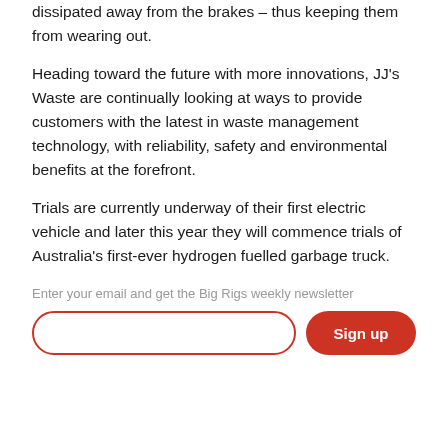dissipated away from the brakes – thus keeping them from wearing out.
Heading toward the future with more innovations, JJ's Waste are continually looking at ways to provide customers with the latest in waste management technology, with reliability, safety and environmental benefits at the forefront.
Trials are currently underway of their first electric vehicle and later this year they will commence trials of Australia's first-ever hydrogen fuelled garbage truck.
Enter your email and get the Big Rigs weekly newsletter